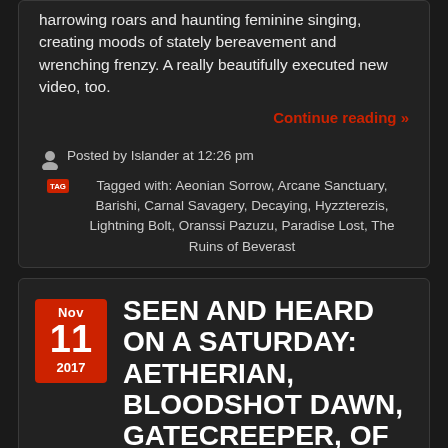harrowing roars and haunting feminine singing, creating moods of stately bereavement and wrenching frenzy. A really beautifully executed new video, too.
Continue reading »
Posted by Islander at 12:26 pm
Tagged with: Aeonian Sorrow, Arcane Sanctuary, Barishi, Carnal Savagery, Decaying, Hyzzterezis, Lightning Bolt, Oranssi Pazuzu, Paradise Lost, The Ruins of Beverast
SEEN AND HEARD ON A SATURDAY: AETHERIAN, BLOODSHOT DAWN, GATECREEPER, OF WOLVES, DECAYING, WASTEWALKER, VOIDCEREMONY, ULVER
Nov 11 2017